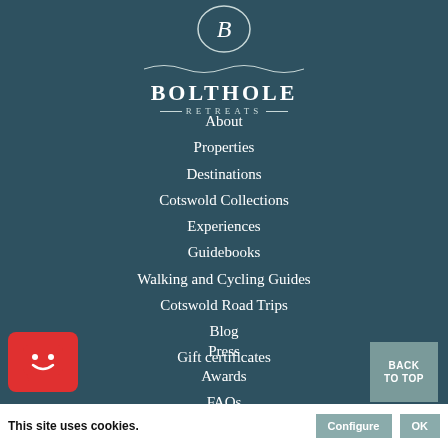[Figure (logo): Bolthole Retreats logo: oval with letter B, decorative swirls, text BOLTHOLE RETREATS]
About
Properties
Destinations
Cotswold Collections
Experiences
Guidebooks
Walking and Cycling Guides
Cotswold Road Trips
Blog
Gift certificates
Press
Awards
FAQs
Dogs Code of Conduct
BACK TO TOP
[Figure (illustration): Red chat widget with smiley face icon]
This site uses cookies.
Configure
OK